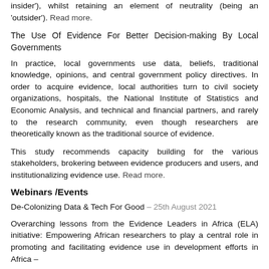insider'), whilst retaining an element of neutrality (being an 'outsider'). Read more.
The Use Of Evidence For Better Decision-making By Local Governments
In practice, local governments use data, beliefs, traditional knowledge, opinions, and central government policy directives. In order to acquire evidence, local authorities turn to civil society organizations, hospitals, the National Institute of Statistics and Economic Analysis, and technical and financial partners, and rarely to the research community, even though researchers are theoretically known as the traditional source of evidence.
This study recommends capacity building for the various stakeholders, brokering between evidence producers and users, and institutionalizing evidence use. Read more.
Webinars /Events
De-Colonizing Data & Tech For Good – 25th August 2021
Overarching lessons from the Evidence Leaders in Africa (ELA) initiative: Empowering African researchers to play a central role in promoting and facilitating evidence use in development efforts in Africa – 26 August 2021